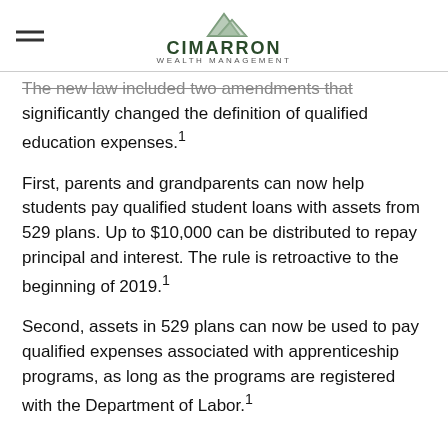CIMARRON WEALTH MANAGEMENT
The new law included two amendments that significantly changed the definition of qualified education expenses.¹
First, parents and grandparents can now help students pay qualified student loans with assets from 529 plans. Up to $10,000 can be distributed to repay principal and interest. The rule is retroactive to the beginning of 2019.¹
Second, assets in 529 plans can now be used to pay qualified expenses associated with apprenticeship programs, as long as the programs are registered with the Department of Labor.¹